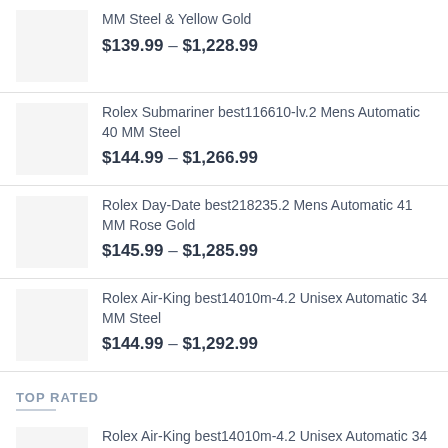MM Steel & Yellow Gold
$139.99 – $1,228.99
Rolex Submariner best116610-lv.2 Mens Automatic 40 MM Steel
$144.99 – $1,266.99
Rolex Day-Date best218235.2 Mens Automatic 41 MM Rose Gold
$145.99 – $1,285.99
Rolex Air-King best14010m-4.2 Unisex Automatic 34 MM Steel
$144.99 – $1,292.99
TOP RATED
Rolex Air-King best14010m-4.2 Unisex Automatic 34 MM Steel
$144.99 – $1,292.99